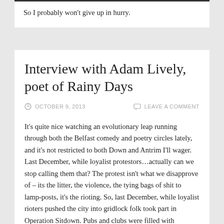So I probably won't give up in hurry.
Interview with Adam Lively, poet of Rainy Days
OCTOBER 9, 2013    LEAVE A COMMENT
It's quite nice watching an evolutionary leap running through both the Belfast comedy and poetry circles lately, and it's not restricted to both Down and Antrim I'll wager. Last December, while loyalist protestors…actually can we stop calling them that? The protest isn't what we disapprove of – its the litter, the violence, the tying bags of shit to lamp-posts, it's the rioting. So, last December, while loyalist rioters pushed the city into gridlock folk took part in Operation Sitdown. Pubs and clubs were filled with commerce to make up for the protests which lost Belfast hundreds of jobs, myself included. This later was co-opted by the City Council to become Backin Belfast, but of course, as it was run top-down rather than